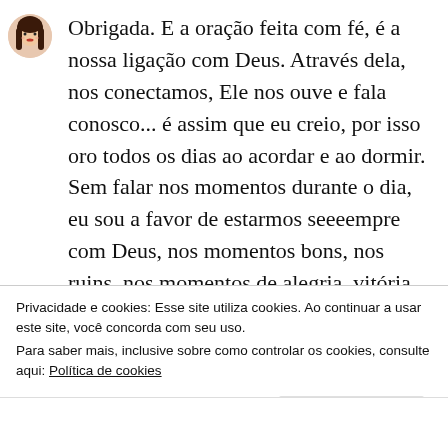[Figure (illustration): Cartoon avatar of a woman with long dark hair and red lips, circular profile picture]
Obrigada. E a oração feita com fé, é a nossa ligação com Deus. Através dela, nos conectamos, Ele nos ouve e fala conosco... é assim que eu creio, por isso oro todos os dias ao acordar e ao dormir. Sem falar nos momentos durante o dia, eu sou a favor de estarmos seeeempre com Deus, nos momentos bons, nos ruins, nos momentos de alegria, vitória, nos momentos de perseguição, tristeza
Privacidade e cookies: Esse site utiliza cookies. Ao continuar a usar este site, você concorda com seu uso.
Para saber mais, inclusive sobre como controlar os cookies, consulte aqui: Política de cookies
Fechar e aceitar